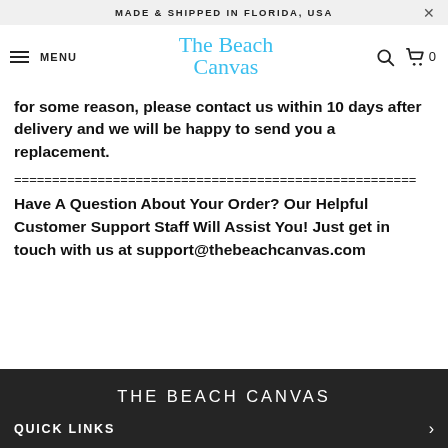MADE & SHIPPED IN FLORIDA, USA
MENU — The Beach Canvas — Search — Cart 0
for some reason, please contact us within 10 days after delivery and we will be happy to send you a replacement.
=====================================================
Have A Question About Your Order? Our Helpful Customer Support Staff Will Assist You! Just get in touch with us at support@thebeachcanvas.com
THE BEACH CANVAS
QUICK LINKS